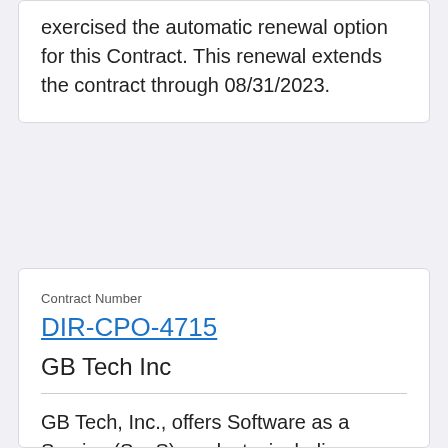exercised the automatic renewal option for this Contract. This renewal extends the contract through 08/31/2023.
Contract Number
DIR-CPO-4715
GB Tech Inc
GB Tech, Inc., offers Software as a Service (SaaS) products, including maintenance, support, installation, configuration, technical and other related services, focusing on Veracode Application Security Software. The GB Tech, Inc. contract may be used by state